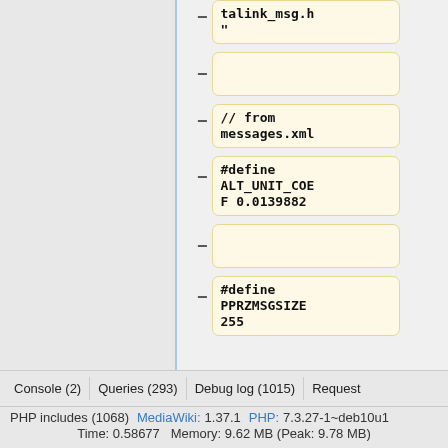[Figure (screenshot): Code diff viewer showing code blocks with talink_msg.h, // from messages.xml, #define ALT_UNIT_COEF 0.0139882, and #define PPRZMSGSIZE 255 with minus/dash indicators on left side]
Console (2)   Queries (293)   Debug log (1015)   Request   PHP includes (1068)   MediaWiki: 1.37.1   PHP: 7.3.27-1~deb10u1   Time: 0.58677   Memory: 9.62 MB (Peak: 9.78 MB)